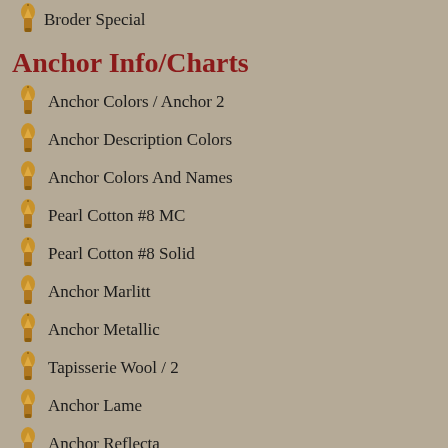Broder Special
Anchor Info/Charts
Anchor Colors / Anchor 2
Anchor Description Colors
Anchor Colors And Names
Pearl Cotton #8 MC
Pearl Cotton #8 Solid
Anchor Marlitt
Anchor Metallic
Tapisserie Wool / 2
Anchor Lame
Anchor Reflecta
More Color Charts / Shops
Madeira
Tim Coffey Foliage Collection
Tim Holtz Distress Pads
Tim Holtz Stencils
Tonic Studios
Tonic Studios Scrapbooking Tools
Tsukineko Brilliance Dew Drop Ink Pads
Tsukineko Embossing Powder